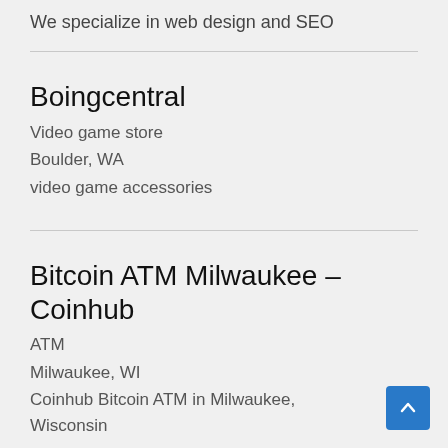We specialize in web design and SEO
Boingcentral
Video game store
Boulder, WA
video game accessories
Bitcoin ATM Milwaukee – Coinhub
ATM
Milwaukee, WI
Coinhub Bitcoin ATM in Milwaukee, Wisconsin